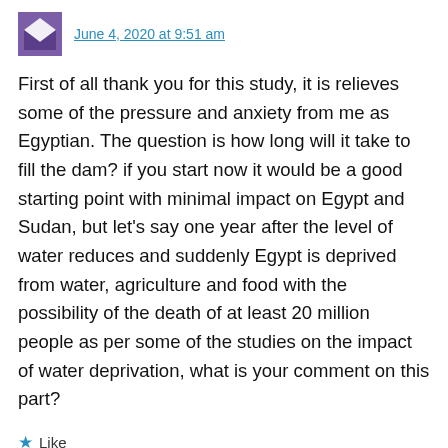June 4, 2020 at 9:51 am
First of all thank you for this study, it is relieves some of the pressure and anxiety from me as Egyptian. The question is how long will it take to fill the dam? if you start now it would be a good starting point with minimal impact on Egypt and Sudan, but let's say one year after the level of water reduces and suddenly Egypt is deprived from water, agriculture and food with the possibility of the death of at least 20 million people as per some of the studies on the impact of water deprivation, what is your comment on this part?
Like
Reply